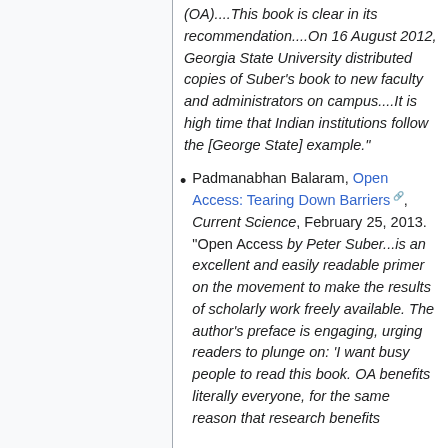(OA)....This book is clear in its recommendation....On 16 August 2012, Georgia State University distributed copies of Suber's book to new faculty and administrators on campus....It is high time that Indian institutions follow the [George State] example."
Padmanabhan Balaram, Open Access: Tearing Down Barriers, Current Science, February 25, 2013. "Open Access by Peter Suber...is an excellent and easily readable primer on the movement to make the results of scholarly work freely available. The author's preface is engaging, urging readers to plunge on: 'I want busy people to read this book. OA benefits literally everyone, for the same reason that research benefits